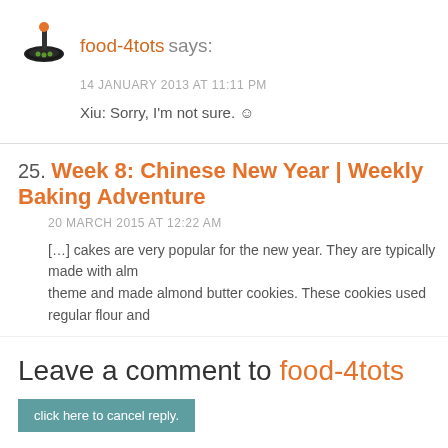[Figure (logo): food-4tots logo: a mortar and pestle bowl icon with orange and green dots]
food-4tots says:
14 JANUARY 2013 AT 11:11 PM
Xiu: Sorry, I'm not sure. ☺
25. Week 8: Chinese New Year | Weekly Baking Adventure
20 MARCH 2015 AT 12:22 AM
[…] cakes are very popular for the new year. They are typically made with alm theme and made almond butter cookies. These cookies used regular flour and
Leave a comment to food-4tots
click here to cancel reply.
Name (required)